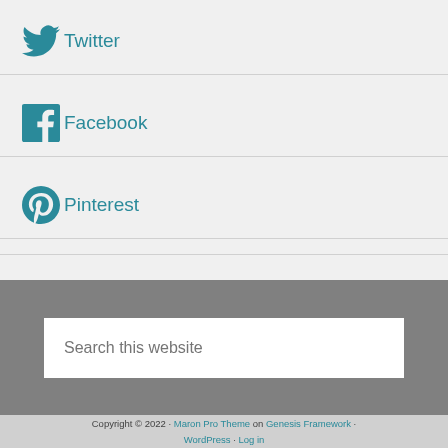Twitter
Facebook
Pinterest
[Figure (screenshot): Search this website input box in gray section]
Copyright © 2022 · Maron Pro Theme on Genesis Framework · WordPress · Log in